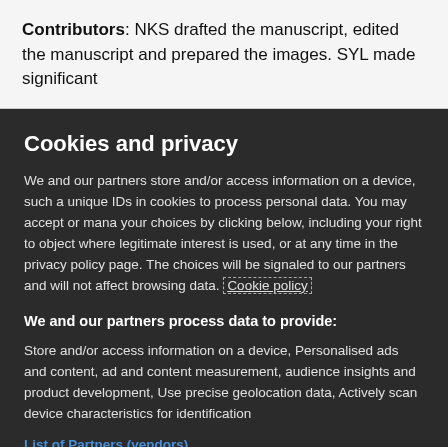Contributors:  NKS drafted the manuscript, edited the manuscript and prepared the images. SYL made significant
Cookies and privacy
We and our partners store and/or access information on a device, such a unique IDs in cookies to process personal data. You may accept or mana your choices by clicking below, including your right to object where legitimate interest is used, or at any time in the privacy policy page. The choices will be signaled to our partners and will not affect browsing data. Cookie policy
We and our partners process data to provide:
Store and/or access information on a device, Personalised ads and content, ad and content measurement, audience insights and product development, Use precise geolocation data, Actively scan device characteristics for identification
List of Partners (vendors)